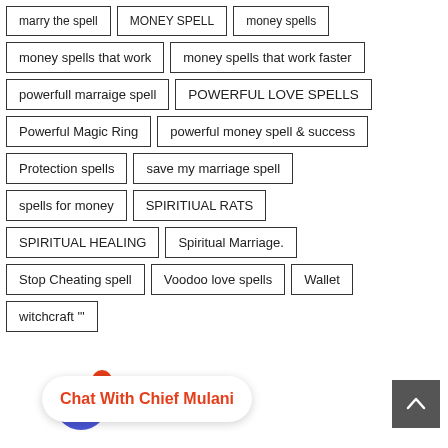marry the spell
MONEY SPELL
money spells
money spells that work
money spells that work faster
powerfull marraige spell
POWERFUL LOVE SPELLS
Powerful Magic Ring
powerful money spell & success
Protection spells
save my marriage spell
spells for money
SPIRITIUAL RATS
SPIRITUAL HEALING
Spiritual Marriage.
Stop Cheating spell
Voodoo love spells
Wallet
witchcraft '"